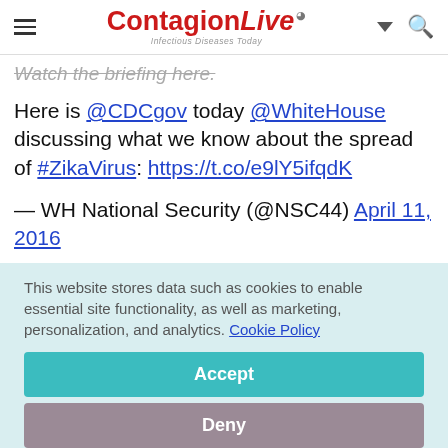ContagionLive – Infectious Diseases Today
Watch the briefing here.
Here is @CDCgov today @WhiteHouse discussing what we know about the spread of #ZikaVirus: https://t.co/e9lY5ifqdK
— WH National Security (@NSC44) April 11, 2016
This website stores data such as cookies to enable essential site functionality, as well as marketing, personalization, and analytics. Cookie Policy
Accept
Deny